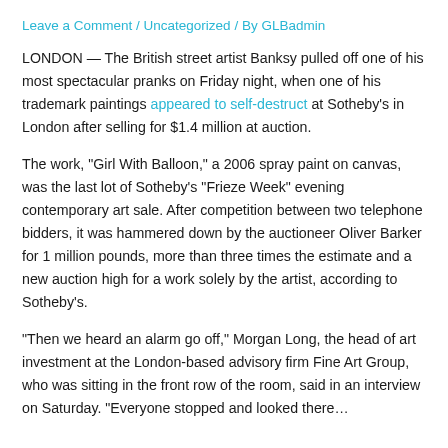Leave a Comment / Uncategorized / By GLBadmin
LONDON — The British street artist Banksy pulled off one of his most spectacular pranks on Friday night, when one of his trademark paintings appeared to self-destruct at Sotheby's in London after selling for $1.4 million at auction.
The work, “Girl With Balloon,” a 2006 spray paint on canvas, was the last lot of Sotheby’s “Frieze Week” evening contemporary art sale. After competition between two telephone bidders, it was hammered down by the auctioneer Oliver Barker for 1 million pounds, more than three times the estimate and a new auction high for a work solely by the artist, according to Sotheby’s.
“Then we heard an alarm go off,” Morgan Long, the head of art investment at the London-based advisory firm Fine Art Group, who was sitting in the front row of the room, said in an interview on Saturday. “Everyone stopped and looked there…”